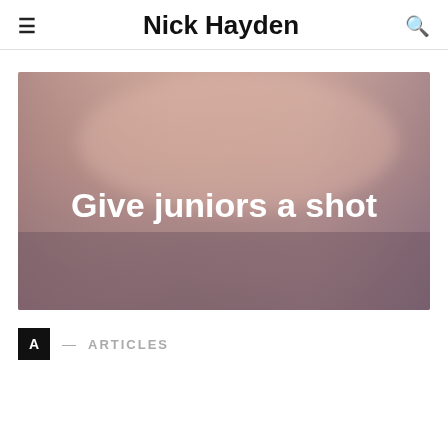Nick Hayden
[Figure (illustration): Blurred gradient background image with muted pink, mauve, and dusty rose tones. White bold rounded text reads 'Give juniors a shot' centered in the image.]
A — ARTICLES